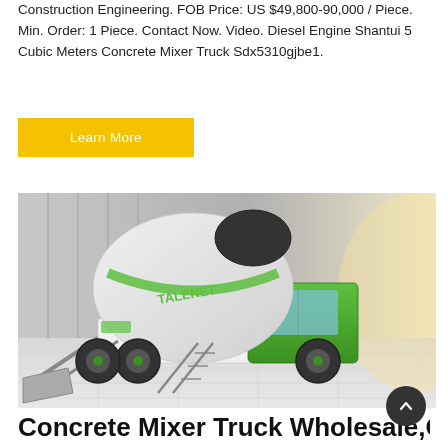Construction Engineering. FOB Price: US $49,800-90,000 / Piece. Min. Order: 1 Piece. Contact Now. Video. Diesel Engine Shantui 5 Cubic Meters Concrete Mixer Truck Sdx5310gjbe1.
Learn More
[Figure (photo): A green and white self-loading concrete mixer truck branded TALENET, with a large rotating drum on the back and a bucket loader at the front, photographed in a bright industrial/warehouse setting.]
Concrete Mixer Truck Wholesale,Concrete